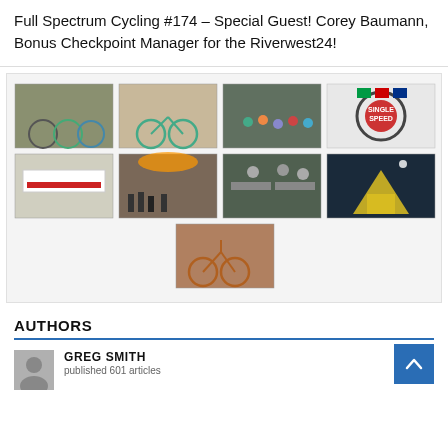Full Spectrum Cycling #174 – Special Guest! Corey Baumann, Bonus Checkpoint Manager for the Riverwest24!
[Figure (photo): Gallery of 9 cycling-related photos arranged in a 4-4-1 grid, showing bikes, cyclists, outdoor events, and a Single Speed logo badge.]
AUTHORS
GREG SMITH
published 601 articles